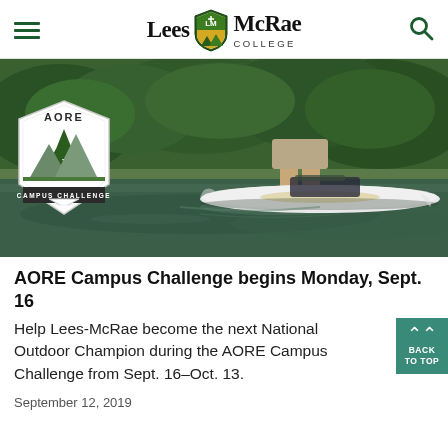Lees McRae College
[Figure (photo): Person standing on a white inflatable SUP (stand-up paddleboard) on a green river/lake, with trees in background. AORE Campus Challenge badge/logo overlaid on the left side of the image.]
AORE Campus Challenge begins Monday, Sept. 16
Help Lees-McRae become the next National Outdoor Champion during the AORE Campus Challenge from Sept. 16–Oct. 13.
September 12, 2019